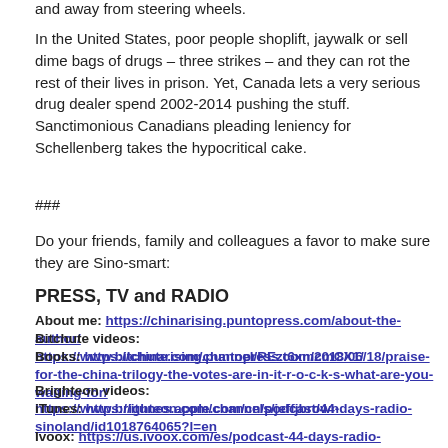and away from steering wheels.
In the United States, poor people shoplift, jaywalk or sell dime bags of drugs – three strikes – and they can rot the rest of their lives in prison. Yet, Canada lets a very serious drug dealer spend 2002-2014 pushing the stuff. Sanctimonious Canadians pleading leniency for Schellenberg takes the hypocritical cake.
###
Do your friends, family and colleagues a favor to make sure they are Sino-smart:
PRESS, TV and RADIO
About me: https://chinarising.puntopress.com/about-the-author/
Bitchute videos: https://www.bitchute.com/channel/REzt6xmcmCX1/
Books: https://chinarising.puntopress.com/2018/06/18/praise-for-the-china-trilogy-the-votes-are-in-it-r-o-c-k-s-what-are-you-waiting-for/
Brighteon videos: https://www.brighteon.com/channels/jeffjbrown
iTunes: https://itunes.apple.com/cn/podcast/44-days-radio-sinoland/id1018764065?l=en
Ivoox: https://us.ivoox.com/es/podcast-44-days-radio-sinoland_sq_f1235539_1.html
Journalism: https://chinarising.puntopress.com/blog-2/
Websites: http://www.chinarising.com ; www.bioweapontruth.com